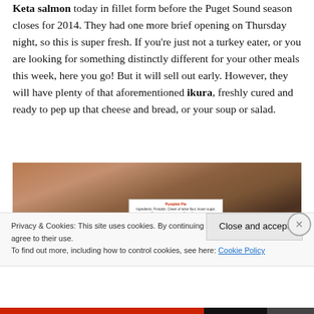Keta salmon today in fillet form before the Puget Sound season closes for 2014. They had one more brief opening on Thursday night, so this is super fresh. If you're just not a turkey eater, or you are looking for something distinctly different for your other meals this week, here you go! But it will sell out early. However, they will have plenty of that aforementioned ikura, freshly cured and ready to pep up that cheese and bread, or your soup or salad.
[Figure (photo): Close-up photo of packaged baked goods (pies) on a market table with a white label card showing 'Pumpkin Pie' and ingredients list]
Privacy & Cookies: This site uses cookies. By continuing to use this website, you agree to their use.
To find out more, including how to control cookies, see here: Cookie Policy
Close and accept